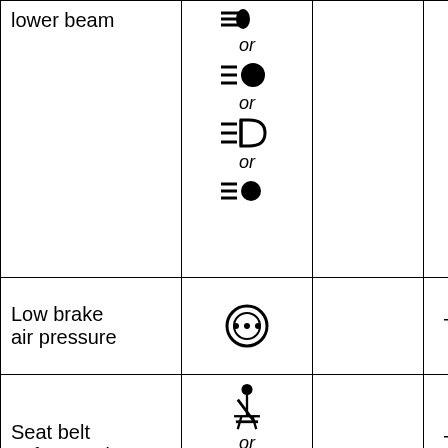|  | Symbol |  |  |
| --- | --- | --- | --- |
| lower beam | [headlight symbols x4 with or] |  |  |
| Low brake air pressure | [brake pressure symbol] |  | Tell-tale |
| Seat belt unfastened | [seatbelt symbols x2 with or] |  | Tell-tale |
| Airbag malfunction | [airbag symbol] |  | Tell-tale |